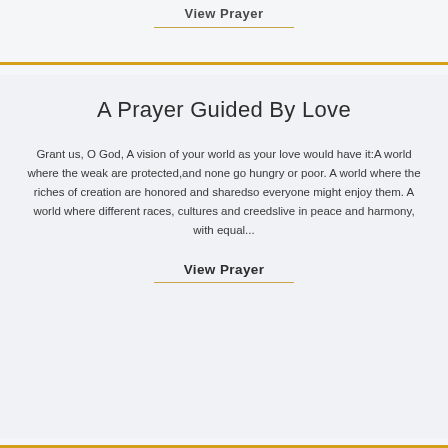View Prayer
A Prayer Guided By Love
Grant us, O God, A vision of your world as your love would have it:A world where the weak are protected,and none go hungry or poor. A world where the riches of creation are honored and sharedso everyone might enjoy them. A world where different races, cultures and creedslive in peace and harmony, with equal...
View Prayer